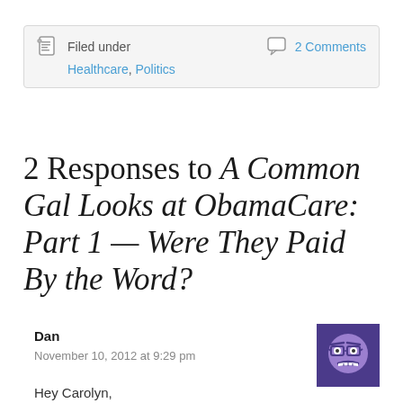Filed under Healthcare, Politics | 2 Comments
2 Responses to A Common Gal Looks at ObamaCare: Part 1 — Were They Paid By the Word?
Dan
November 10, 2012 at 9:29 pm
[Figure (illustration): Purple avatar icon of an angry/grumpy face with glasses on dark purple background]
Hey Carolyn,